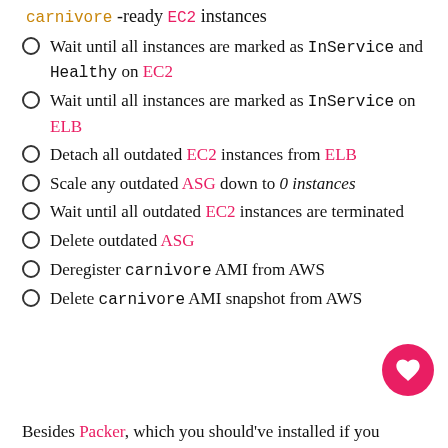carnivore -ready EC2 instances
Wait until all instances are marked as InService and Healthy on EC2
Wait until all instances are marked as InService on ELB
Detach all outdated EC2 instances from ELB
Scale any outdated ASG down to 0 instances
Wait until all outdated EC2 instances are terminated
Delete outdated ASG
Deregister carnivore AMI from AWS
Delete carnivore AMI snapshot from AWS
Besides Packer, which you should've installed if you